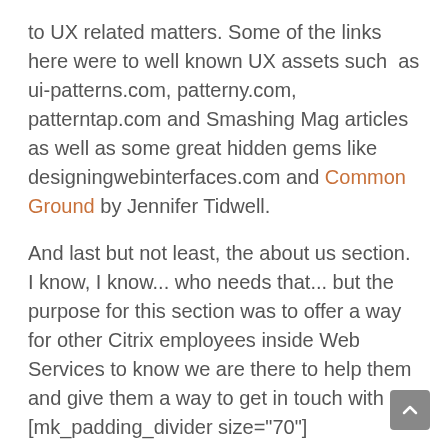to UX related matters. Some of the links here were to well known UX assets such as ui-patterns.com, patterny.com, patterntap.com and Smashing Mag articles as well as some great hidden gems like designingwebinterfaces.com and Common Ground by Jennifer Tidwell.
And last but not least, the about us section. I know, I know... who needs that... but the purpose for this section was to offer a way for other Citrix employees inside Web Services to know we are there to help them and give them a way to get in touch with us.
[mk_padding_divider size="70"]
[mk_padding_divider size="40"][mk_image src="https://kitti.co/wp-content/uploads/2015/02/p-site-structure1.png" image_width="336"